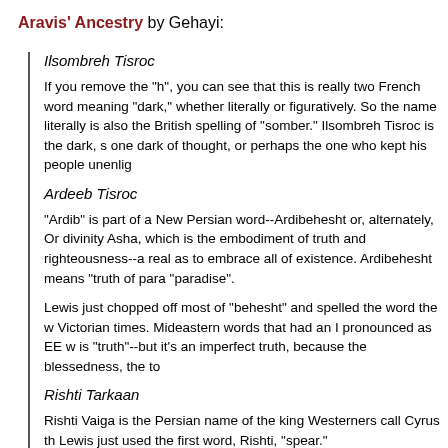Aravis' Ancestry by Gehayi:
Ilsombreh Tisroc
If you remove the "h", you can see that this is really two French words meaning "dark," whether literally or figuratively. So the name literally is also the British spelling of "somber." Ilsombreh Tisroc is the dark, s one dark of thought, or perhaps the one who kept his people unenlig
Ardeeb Tisroc
"Ardib" is part of a New Persian word--Ardibehesht or, alternately, Or divinity Asha, which is the embodiment of truth and righteousness--a real as to embrace all of existence. Ardibehesht means "truth of para "paradise".
Lewis just chopped off most of "behesht" and spelled the word the w Victorian times. Mideastern words that had an I pronounced as EE w is "truth"--but it's an imperfect truth, because the blessedness, the to
Rishti Tarkaan
Rishti Vaiga is the Persian name of the king Westerners call Cyrus th Lewis just used the first word, Rishti, "spear."
Kidrash Tarkaan